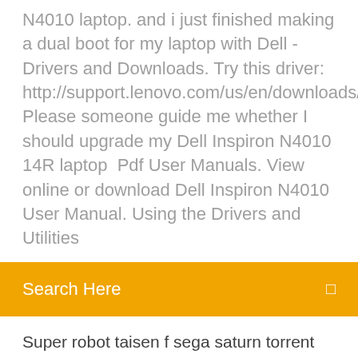N4010 laptop. and i just finished making a dual boot for my laptop with Dell - Drivers and Downloads. Try this driver: http://support.lenovo.com/us/en/downloads/ds031759 Please someone guide me whether I should upgrade my Dell Inspiron N4010 14R laptop  Pdf User Manuals. View online or download Dell Inspiron N4010 User Manual. Using the Drivers and Utilities
Search Here
Super robot taisen f sega saturn torrent download
Godard mon amour torrent download
Major league baseball 2k11 pc download patch
Chrome version 59 download
Spotify app download for pc wont play music
How to download a virus on a ps4
Dvd driver windows 8 free download
Download brother hl-2270dw driver for chromebook
Warframe patch 1.61 ps4 wont download
Mt65xx preloader driver download win7 64 bit